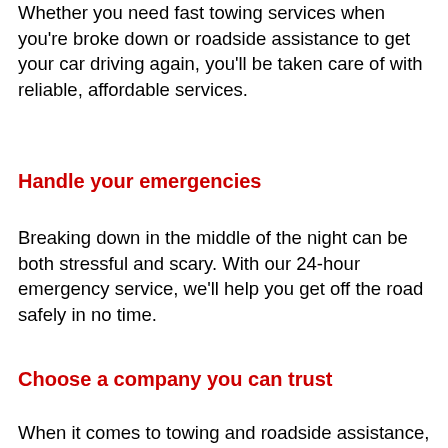Whether you need fast towing services when you're broke down or roadside assistance to get your car driving again, you'll be taken care of with reliable, affordable services.
Handle your emergencies
Breaking down in the middle of the night can be both stressful and scary. With our 24-hour emergency service, we'll help you get off the road safely in no time.
Choose a company you can trust
When it comes to towing and roadside assistance,